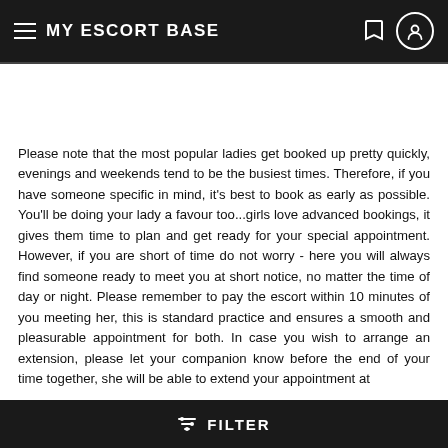MY ESCORT BASE
Please note that the most popular ladies get booked up pretty quickly, evenings and weekends tend to be the busiest times. Therefore, if you have someone specific in mind, it's best to book as early as possible. You'll be doing your lady a favour too...girls love advanced bookings, it gives them time to plan and get ready for your special appointment. However, if you are short of time do not worry - here you will always find someone ready to meet you at short notice, no matter the time of day or night. Please remember to pay the escort within 10 minutes of you meeting her, this is standard practice and ensures a smooth and pleasurable appointment for both. In case you wish to arrange an extension, please let your companion know before the end of your time together, she will be able to extend your appointment at
FILTER